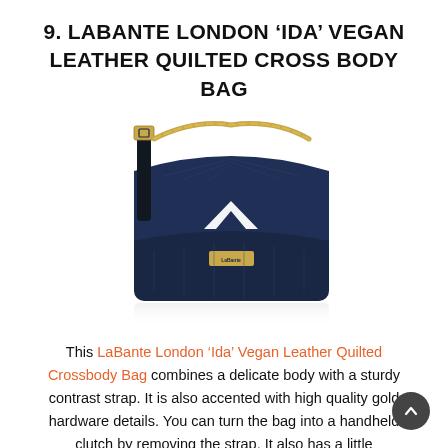9. LABANTE LONDON 'IDA' VEGAN LEATHER QUILTED CROSS BODY BAG
[Figure (photo): A navy blue LaBante London 'Ida' Vegan Leather Quilted Crossbody Bag with gold chain strap and white chevron flap clasp, shown with its reflection below.]
This LaBante London 'Ida' Vegan Leather Quilted Crossbody Bag combines a delicate body with a sturdy contrast strap. It is also accented with high quality gold hardware details. You can turn the bag into a handheld clutch by removing the strap. It also has a little